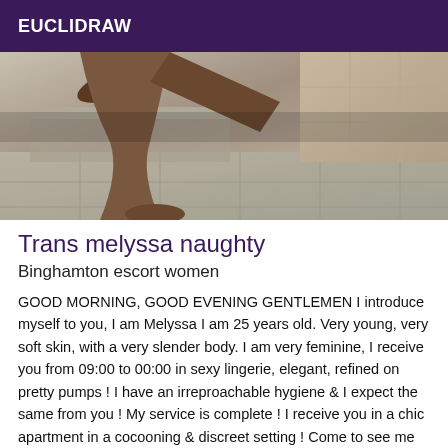EUCLIDRAW
[Figure (photo): Photo of a person's legs and lower body in what appears to be a bathroom or tiled setting]
Trans melyssa naughty
Binghamton escort women
GOOD MORNING, GOOD EVENING GENTLEMEN I introduce myself to you, I am Melyssa I am 25 years old. Very young, very soft skin, with a very slender body. I am very feminine, I receive you from 09:00 to 00:00 in sexy lingerie, elegant, refined on pretty pumps ! I have an irreproachable hygiene & I expect the same from you ! My service is complete ! I receive you in a chic apartment in a cocooning & discreet setting ! Come to see me and have a good time with me (beginners are welcome) ...